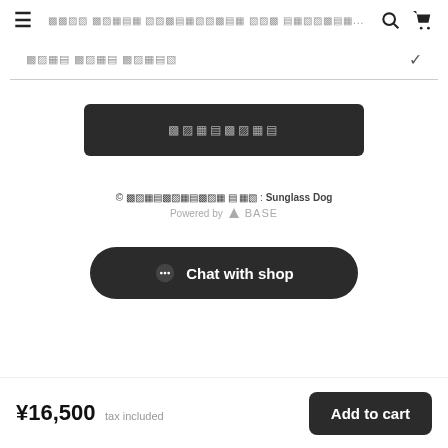≡  [garbled Japanese text]...  🔍  🛒
[garbled Japanese dropdown label] ∨
[garbled button text - add to cart variant]
© [garbled Japanese] : Sunglass Dog
Powered by △ BASE
💬 Chat with shop
¥16,500 tax included
Add to cart